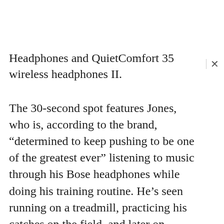Headphones and QuietComfort 35 wireless headphones II.
The 30-second spot features Jones, who is, according to the brand, “determined to keep pushing to be one of the greatest ever” listening to music through his Bose headphones while doing his training routine. He’s seen running on a treadmill, practicing his catches on the field, and later on putting aside his sport gear for a black suit. However, even dressed elegantly, he’s still keeping his Bose headphones on.